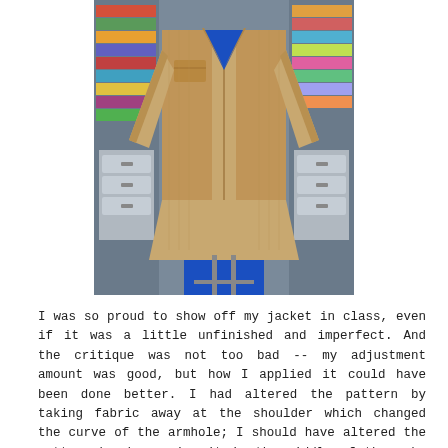[Figure (photo): A tan/beige corduroy or suede jacket displayed on a mannequin or hanger in what appears to be a craft/fabric store. The jacket has a V-neckline showing a blue shirt beneath. The store background shows shelves with colorful fabric rolls and storage drawers.]
I was so proud to show off my jacket in class, even if it was a little unfinished and imperfect. And the critique was not too bad -- my adjustment amount was good, but how I applied it could have been done better. I had altered the pattern by taking fabric away at the shoulder which changed the curve of the armhole; I should have altered the pattern by decreasing it in the middle of the yoke and front pieces to preserve the armhole shape...